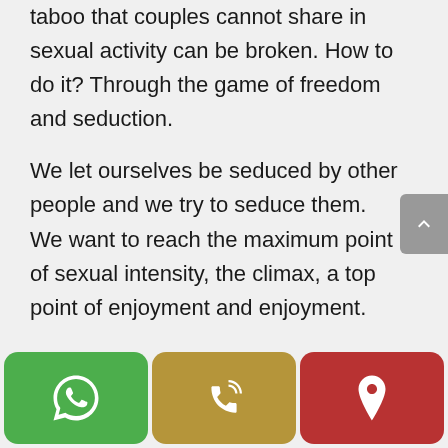taboo that couples cannot share in sexual activity can be broken. How to do it? Through the game of freedom and seduction.
We let ourselves be seduced by other people and we try to seduce them. We want to reach the maximum point of sexual intensity, the climax, a top point of enjoyment and enjoyment.
Practice everything with maximum safety, with the mandatory and required use of condoms and / or other protection methods. Committed to a zero risk policy,
[Figure (screenshot): Bottom navigation bar with three icon buttons: green WhatsApp icon, yellow-brown phone/call icon, red location pin icon. Also a gray scroll-to-top button on the right side.]